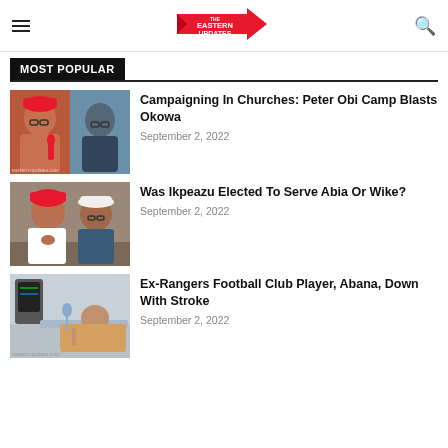The Eastern Updates
MOST POPULAR
Campaigning In Churches: Peter Obi Camp Blasts Okowa
September 2, 2022
Was Ikpeazu Elected To Serve Abia Or Wike?
September 2, 2022
Ex-Rangers Football Club Player, Abana, Down With Stroke
September 2, 2022